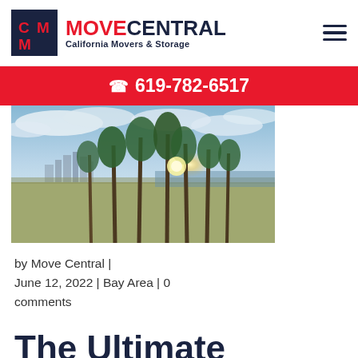MOVE CENTRAL — California Movers & Storage | 619-782-6517
[Figure (photo): Aerial cityscape of Los Angeles with palm trees in foreground, city skyline and ocean in background under a dramatic sky with clouds and sunlight.]
by Move Central | June 12, 2022 | Bay Area | 0 comments
The Ultimate